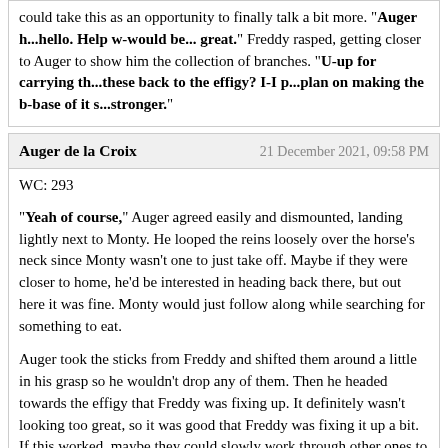could take this as an opportunity to finally talk a bit more. "Auger h...hello. Help w-would be... great." Freddy rasped, getting closer to Auger to show him the collection of branches. "U-up for carrying th...these back to the effigy? I-I p...plan on making the b-base of it s...stronger."
Auger de la Croix — 21 December 2021, 09:58 PM
WC: 293
"Yeah of course," Auger agreed easily and dismounted, landing lightly next to Monty. He looped the reins loosely over the horse's neck since Monty wasn't one to just take off. Maybe if they were closer to home, he'd be interested in heading back there, but out here it was fine. Monty would just follow along while searching for something to eat.
Auger took the sticks from Freddy and shifted them around a little in his grasp so he wouldn't drop any of them. Then he headed towards the effigy that Freddy was fixing up. It definitely wasn't looking too great, so it was good that Freddy was fixing it up a bit. If this worked, maybe they could slowly work through other ones to do the same thing.
"Hopefully making the base stronger will help. Theses sometimes seem to break down quickly." Auger wasn't sure if it was because of the variety of pack members who built them or because some of them seemed to get more wind or what. But he wasn't too great at building them himself so he certainly wasn't about to critique the work of anyone